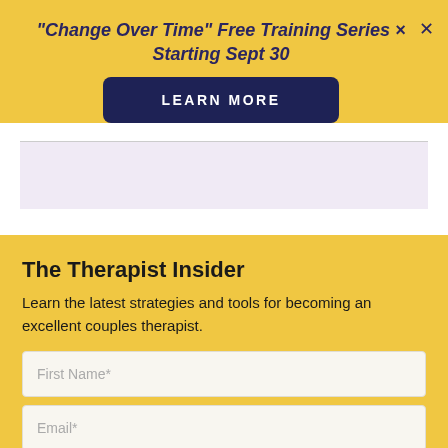"Change Over Time" Free Training Series Starting Sept 30
LEARN MORE
The Therapist Insider
Learn the latest strategies and tools for becoming an excellent couples therapist.
First Name*
Email*